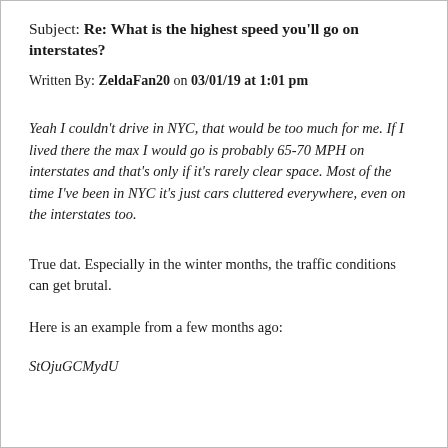Subject: Re: What is the highest speed you'll go on interstates?
Written By: ZeldaFan20 on 03/01/19 at 1:01 pm
Yeah I couldn't drive in NYC, that would be too much for me. If I lived there the max I would go is probably 65-70 MPH on interstates and that's only if it's rarely clear space. Most of the time I've been in NYC it's just cars cluttered everywhere, even on the interstates too.
True dat. Especially in the winter months, the traffic conditions can get brutal.
Here is an example from a few months ago:
StOjuGCMydU